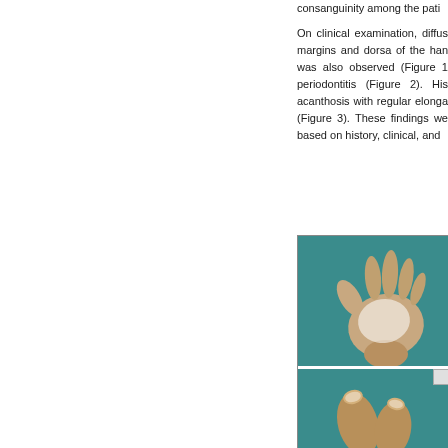consanguinity among the pati... On clinical examination, diffus... margins and dorsa of the han... was also observed (Figure 1... periodontitis (Figure 2). His... acanthosis with regular elonga... (Figure 3). These findings we... based on history, clinical, and...
[Figure (photo): Clinical photograph showing a hand with palmar keratoderma (whitish thickening on palm) displayed palm-up against a teal/green background, and below it a close-up of finger tips showing nail/skin changes against the same teal background.]